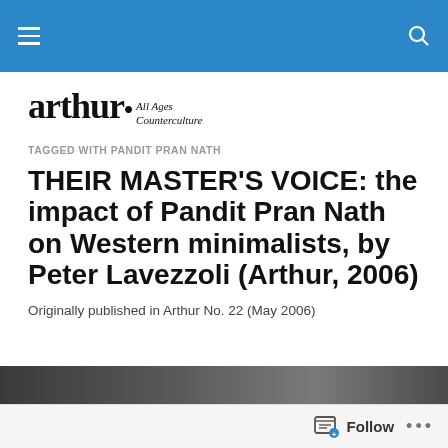arthur • All Ages Counterculture
[Figure (logo): Arthur magazine logo with tagline 'All Ages Counterculture' in serif font]
TAGGED WITH PANDIT PRAN NATH
THEIR MASTER'S VOICE: the impact of Pandit Pran Nath on Western minimalists, by Peter Lavezzoli (Arthur, 2006)
Originally published in Arthur No. 22 (May 2006)
[Figure (photo): Partial image visible at bottom of page, dark tones]